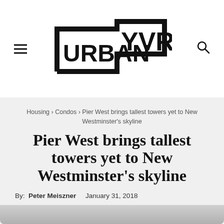Urban YVR
Housing › Condos › Pier West brings tallest towers yet to New Westminster's skyline
Pier West brings tallest towers yet to New Westminster's skyline
By: Peter Meiszner   January 31, 2018